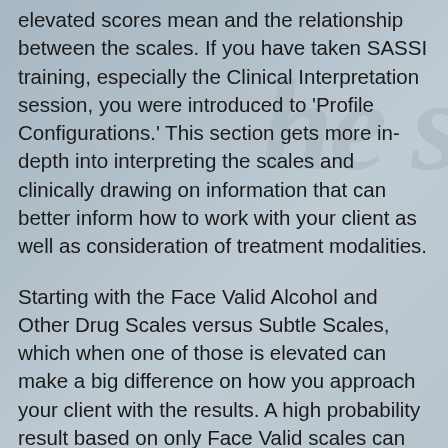elevated scores mean and the relationship between the scales. If you have taken SASSI training, especially the Clinical Interpretation session, you were introduced to ‘Profile Configurations.’ This section gets more in-depth into interpreting the scales and clinically drawing on information that can better inform how to work with your client as well as consideration of treatment modalities.
Starting with the Face Valid Alcohol and Other Drug Scales versus Subtle Scales, which when one of those is elevated can make a big difference on how you approach your client with the results. A high probability result based on only Face Valid scales can indicate good treatment readiness, life-style issues (that is,